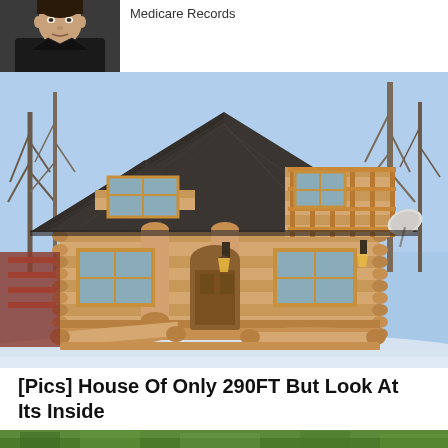[Figure (photo): Partial view of a person's face in the upper-left corner, cropped]
Medicare Records
[Figure (photo): Exterior photo of a wooden log cabin with steep A-frame roof, dormer windows, a balcony, porch with log railing, and outdoor bench seating. Set in a winter landscape with bare trees.]
[Pics] House Of Only 290FT But Look At Its Inside
TheDecorIdeas
[Figure (photo): Partial bottom strip showing what appears to be a green landscape or garden scene]